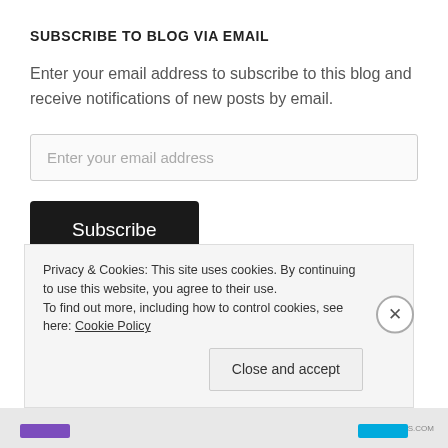SUBSCRIBE TO BLOG VIA EMAIL
Enter your email address to subscribe to this blog and receive notifications of new posts by email.
Enter your email address
Subscribe
Join 119 other followers
Privacy & Cookies: This site uses cookies. By continuing to use this website, you agree to their use.
To find out more, including how to control cookies, see here: Cookie Policy
Close and accept